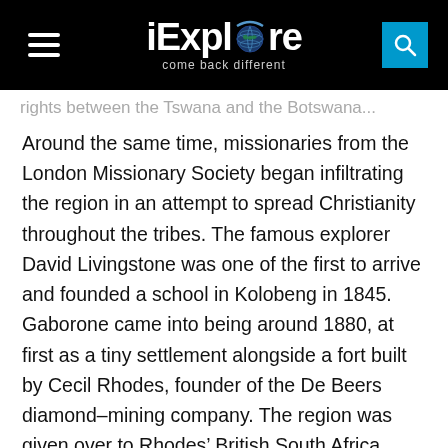iExplore — come back different
...rights between the Tswana and the Botswan...
Around the same time, missionaries from the London Missionary Society began infiltrating the region in an attempt to spread Christianity throughout the tribes. The famous explorer David Livingstone was one of the first to arrive and founded a school in Kolobeng in 1845. Gaborone came into being around 1880, at first as a tiny settlement alongside a fort built by Cecil Rhodes, founder of the De Beers diamond-mining company. The region was given over to Rhodes' British South Africa Company in 1895.